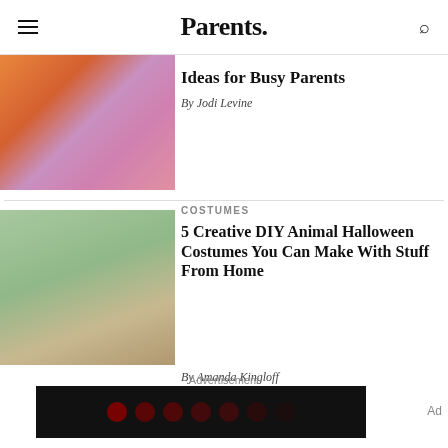Parents.
[Figure (photo): Two children in colorful outfits — one in orange fluffy costume, one in purple plaid pants on a pink background]
Ideas for Busy Parents
By Jodi Levine
[Figure (photo): Young girl in floral dress holding a large lollipop prop against a green background]
COSTUMES
5 Creative DIY Animal Halloween Costumes You Can Make With Stuff From Home
By Amanda Kingloff
Advertisement
[Figure (other): Dark advertisement banner with red dot pattern]